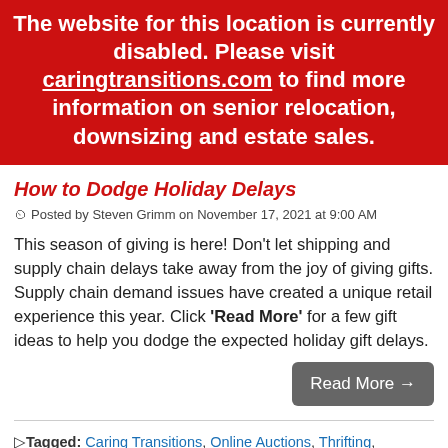The website for this location is currently disabled. Please visit caringtransitions.com to find more information on senior relocation, downsizing and estate sales.
How to Dodge Holiday Delays
Posted by Steven Grimm on November 17, 2021 at 9:00 AM
This season of giving is here! Don't let shipping and supply chain delays take away from the joy of giving gifts. Supply chain demand issues have created a unique retail experience this year. Click 'Read More' for a few gift ideas to help you dodge the expected holiday gift delays.
Read More →
Tagged: Caring Transitions, Online Auctions, Thrifting, Senior Downsizing, CTBids, Upcycle, senior relocation, Estate Sales, CTBids.com, Gift Ideas, Repurpose,